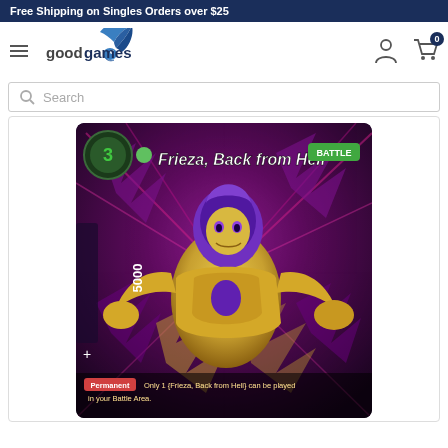Free Shipping on Singles Orders over $25
[Figure (logo): Good Games logo with stylized dragon/bird icon and text 'goodgames']
Search
[Figure (photo): Frieza, Back from Hell trading card - Dragon Ball Super Battle card showing Golden Frieza character on purple/gold background with card text: Permanent: Only 1 (Frieza, Back from Hell) can be played in your Battle Area. Cost 3, Power 5000.]